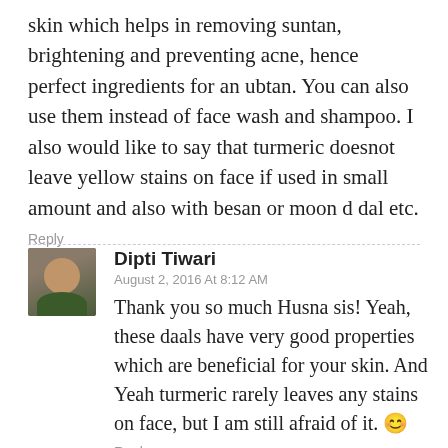skin which helps in removing suntan, brightening and preventing acne, hence perfect ingredients for an ubtan. You can also use them instead of face wash and shampoo. I also would like to say that turmeric doesnot leave yellow stains on face if used in small amount and also with besan or moon d dal etc.
Reply
[Figure (photo): Profile photo of Dipti Tiwari, a woman with dark hair]
Dipti Tiwari
August 2, 2016 At 8:12 AM
Thank you so much Husna sis! Yeah, these daals have very good properties which are beneficial for your skin. And Yeah turmeric rarely leaves any stains on face, but I am still afraid of it. 😊
Reply